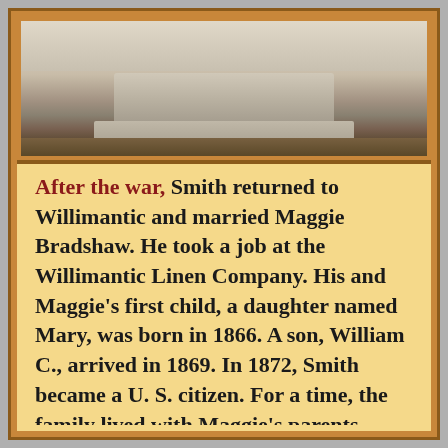[Figure (photo): Photograph of a gravestone or cemetery marker, showing a stone base resting on grass, with a larger flat granite stone visible at the top.]
After the war, Smith returned to Willimantic and married Maggie Bradshaw. He took a job at the Willimantic Linen Company. His and Maggie's first child, a daughter named Mary, was born in 1866. A son, William C., arrived in 1869. In 1872, Smith became a U. S. citizen. For a time, the family lived with Maggie's parents. Then, sometime after 1870, Maggie died. Smith never